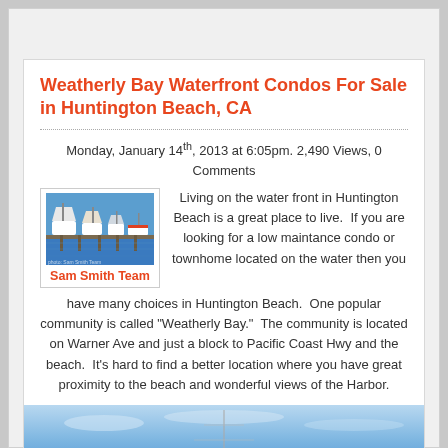Weatherly Bay Waterfront Condos For Sale in Huntington Beach, CA
Monday, January 14th, 2013 at 6:05pm. 2,490 Views, 0 Comments
[Figure (photo): Marina with boats docked, blue sky, labeled Sam Smith Team]
Living on the water front in Huntington Beach is a great place to live.  If you are looking for a low maintance condo or townhome located on the water then you have many choices in Huntington Beach.  One popular community is called "Weatherly Bay."  The community is located on Warner Ave and just a block to Pacific Coast Hwy and the beach.  It's hard to find a better location where you have great proximity to the beach and wonderful views of the Harbor.
[Figure (photo): Blue sky and water view, bottom of page]